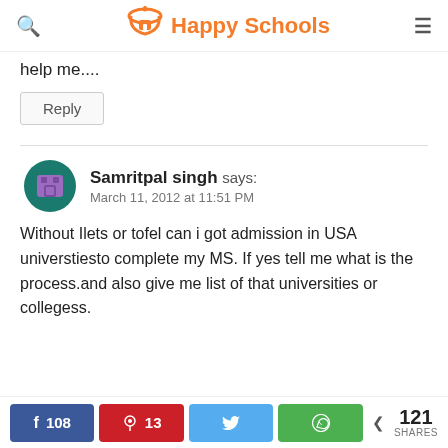Happy Schools
help me....
Reply
Samritpal singh says: March 11, 2012 at 11:51 PM
Without Ilets or tofel can i got admission in USA universtiesto complete my MS. If yes tell me what is the process.and also give me list of that universities or collegess.
108  13  121 SHARES